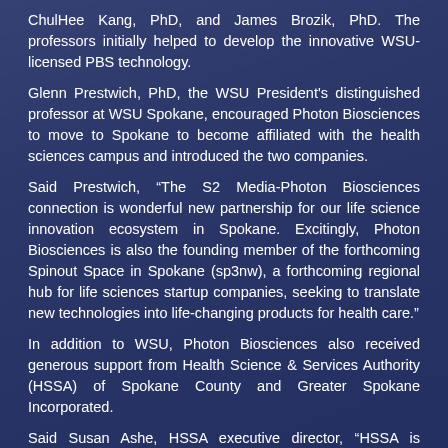ChulHee Kang, PhD, and James Brozik, PhD. The professors initially helped to develop the innovative WSU-licensed PBS technology.
Glenn Prestwich, PhD, the WSU President's distinguished professor at WSU Spokane, encouraged Photon Biosciences to move to Spokane to become affiliated with the health sciences campus and introduced the two companies.
Said Prestwich, “The S2 Media-Photon Biosciences connection is wonderful new partnership for our life science innovation ecosystem in Spokane. Excitingly, Photon Biosciences is also the founding member of the forthcoming Spinout Space in Spokane (sp3nw), a forthcoming regional hub for life sciences startup companies, seeking to translate new technologies into life-changing products for health care.”
In addition to WSU, Photon Biosciences also received generous support from Health Science & Services Authority (HSSA) of Spokane County and Greater Spokane Incorporated.
Said Susan Ashe, HSSA executive director, “HSSA is pleased to have helped move Photon Biosciences to Spokane and